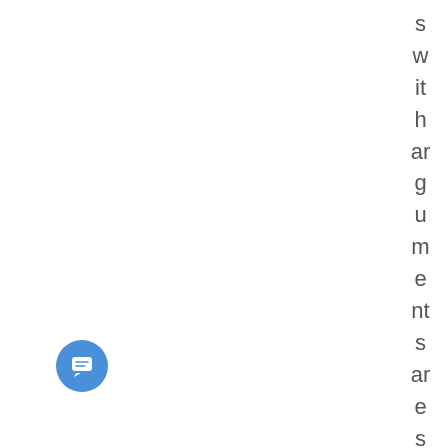s w it h ar g u m e nt s ar e s u p p or
[Figure (other): Chat/messaging button icon — blue circle with white speech bubble/message icon]